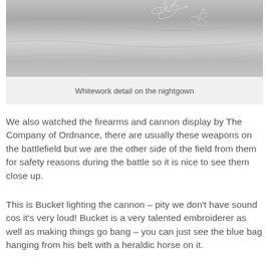[Figure (photo): Close-up photograph of white fabric with whitework embroidery detail showing floral or leaf patterns in white-on-white thread work]
Whitework detail on the nightgown
We also watched the firearms and cannon display by The Company of Ordnance, there are usually these weapons on the battlefield but we are the other side of the field from them for safety reasons during the battle so it is nice to see them close up.
This is Bucket lighting the cannon – pity we don't have sound cos it's very loud! Bucket is a very talented embroiderer as well as making things go bang – you can just see the blue bag hanging from his belt with a heraldic horse on it.